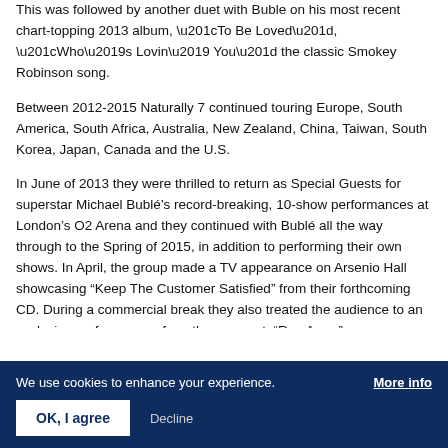This was followed by another duet with Buble on his most recent chart-topping 2013 album, “To Be Loved”, “Who’s Lovin’ You” the classic Smokey Robinson song.
Between 2012-2015 Naturally 7 continued touring Europe, South America, South Africa, Australia, New Zealand, China, Taiwan, South Korea, Japan, Canada and the U.S.
In June of 2013 they were thrilled to return as Special Guests for superstar Michael Bublé’s record-breaking, 10-show performances at London’s O2 Arena and they continued with Bublé all the way through to the Spring of 2015, in addition to performing their own shows. In April, the group made a TV appearance on Arsenio Hall showcasing “Keep The Customer Satisfied” from their forthcoming CD. During a commercial break they also treated the audience to an exclusive performance of another new cut, “Run Away”.
We use cookies to enhance your experience. More info
OK, I agree  Decline